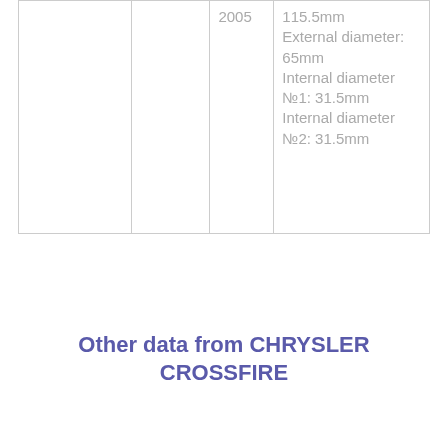|  |  | 2005 | 115.5mm External diameter: 65mm Internal diameter №1: 31.5mm Internal diameter №2: 31.5mm |
Other data from CHRYSLER CROSSFIRE